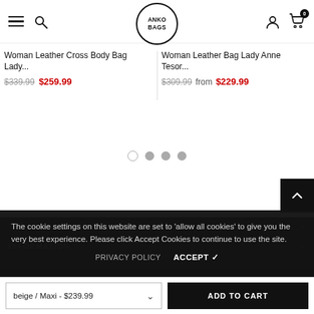ANKO BAGS - Navigation header with hamburger, search, logo, account, and cart icons
Woman Leather Cross Body Bag Lady... $339.99 $259.99
Woman Leather Bag Lady Anne Tesor... $309.99 from $229.99
[Figure (screenshot): Carousel pagination dots: one empty circle followed by three filled grey circles]
[Figure (screenshot): Scroll-to-top button: dark square with upward chevron arrow]
The cookie settings on this website are set to 'allow all cookies' to give you the very best experience. Please click Accept Cookies to continue to use the site.
PRIVACY POLICY   ACCEPT ✓
INFORMATION
beige / Maxi - $239.99   ADD TO CART